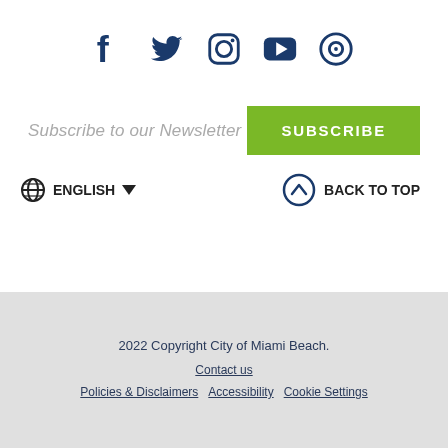[Figure (illustration): Row of five dark blue social media icons: Facebook, Twitter, Instagram, YouTube, and a target/Nextdoor-style icon]
Subscribe to our Newsletter
SUBSCRIBE
ENGLISH
BACK TO TOP
2022 Copyright City of Miami Beach.
Contact us
Policies & Disclaimers
Accessibility
Cookie Settings